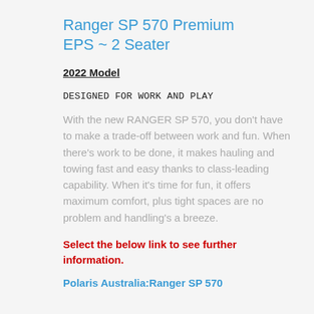Ranger SP 570 Premium EPS ~ 2 Seater
2022 Model
DESIGNED FOR WORK AND PLAY
With the new RANGER SP 570, you don't have to make a trade-off between work and fun. When there's work to be done, it makes hauling and towing fast and easy thanks to class-leading capability. When it's time for fun, it offers maximum comfort, plus tight spaces are no problem and handling's a breeze.
Select the below link to see further information.
Polaris Australia:Ranger SP 570